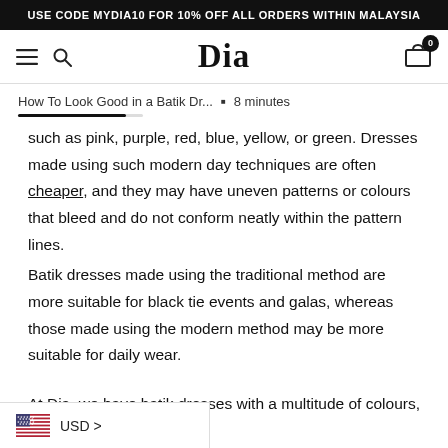USE CODE MYDIA10 FOR 10% OFF ALL ORDERS WITHIN MALAYSIA
Dia — navigation bar with hamburger menu, search, logo, and cart (0 items)
How To Look Good in a Batik Dr... ▪ 8 minutes
such as pink, purple, red, blue, yellow, or green. Dresses made using such modern day techniques are often cheaper, and they may have uneven patterns or colours that bleed and do not conform neatly within the pattern lines.
Batik dresses made using the traditional method are more suitable for black tie events and galas, whereas those made using the modern method may be more suitable for daily wear.
At Dia, we have batik dresses with a multitude of colours, but they g the traditional method, using only the finest
USD >